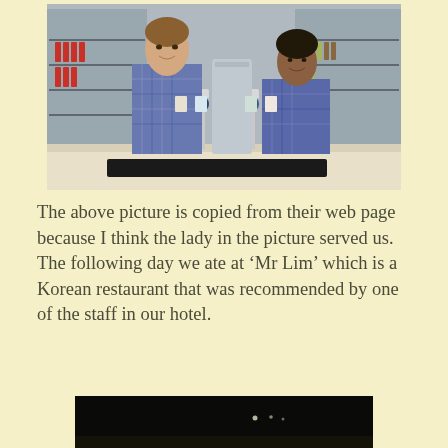[Figure (photo): Two women in blue and white checkered uniforms standing behind a bar with beer taps and refrigerated drinks in the background.]
The above picture is copied from their web page because I think the lady in the picture served us.
The following day we ate at ‘Mr Lim’ which is a Korean restaurant that was recommended by one of the staff in our hotel.
[Figure (photo): Dark image, possibly interior of a restaurant at night with faint lights visible.]